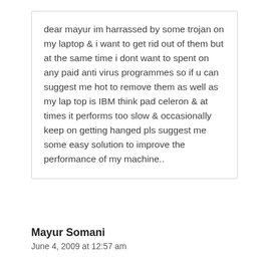dear mayur im harrassed by some trojan on my laptop & i want to get rid out of them but at the same time i dont want to spent on any paid anti virus programmes so if u can suggest me hot to remove them as well as my lap top is IBM think pad celeron & at times it performs too slow & occasionally keep on getting hanged pls suggest me some easy solution to improve the performance of my machine..
Mayur Somani
June 4, 2009 at 12:57 am